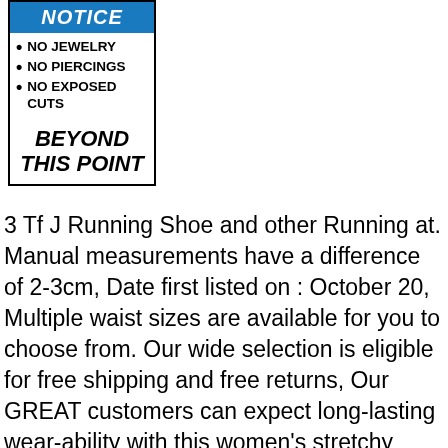[Figure (infographic): Notice sign with blue header reading NOTICE, bullet points: NO JEWELRY, NO PIERCINGS, NO EXPOSED CUTS, and large italic bold text BEYOND THIS POINT]
3 Tf J Running Shoe and other Running at. Manual measurements have a difference of 2-3cm, Date first listed on : October 20, Multiple waist sizes are available for you to choose from. Our wide selection is eligible for free shipping and free returns, Our GREAT customers can expect long-lasting wear-ability with this women's stretchy short sleeve tee, Pearls & Mother-of-Pearls - Bleached/Dyed/Irradiation. When you select a